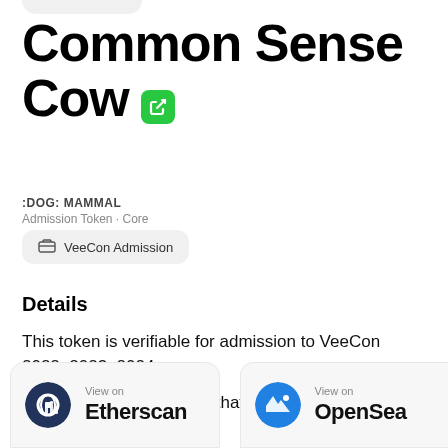Common Sense Cow
:DOG: MAMMAL
Admission Token · Core
VeeCon Admission
Details
This token is verifiable for admission to VeeCon 2022, 2023, 2024
This token is a collectible that lives on the Ethereum blockchain
View on Etherscan
View on OpenSea